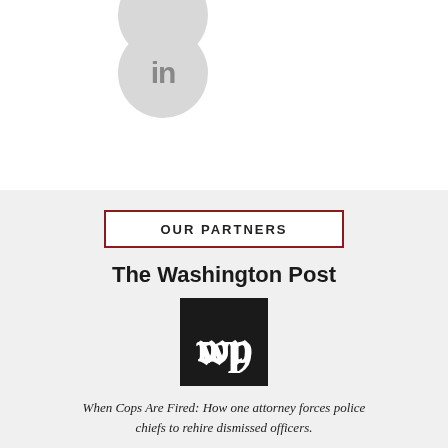[Figure (logo): LinkedIn circular icon (gray) partially visible at top, and a second LinkedIn-style gray circle icon below it]
OUR PARTNERS
The Washington Post
[Figure (logo): Washington Post logo: black square with white 'wp' in blackletter/Gothic font]
When Cops Are Fired: How one attorney forces police chiefs to rehire dismissed officers.